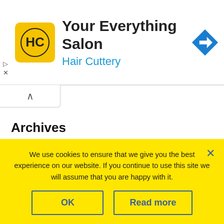[Figure (logo): Hair Cuttery ad banner with yellow HC logo, text 'Your Everything Salon' and 'Hair Cuttery', blue diamond arrow icon on right]
Archives
Select Month
We use cookies to ensure that we give you the best experience on our website. If you continue to use this site we will assume that you are happy with it.